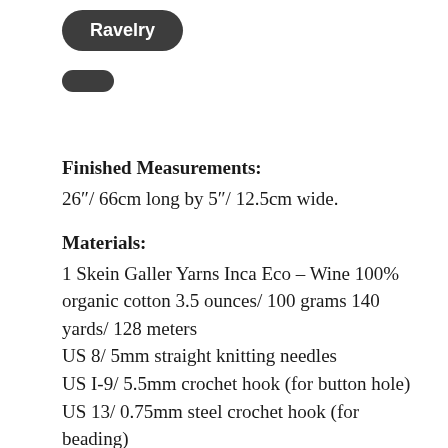[Figure (logo): Dark rounded rectangle button with white text 'Ravelry']
[Figure (other): Small dark oval/pill shape button]
Finished Measurements:
26"/ 66cm long by 5"/ 12.5cm wide.
Materials:
1 Skein Galler Yarns Inca Eco – Wine 100% organic cotton 3.5 ounces/ 100 grams 140 yards/ 128 meters
US 8/ 5mm straight knitting needles
US I-9/ 5.5mm crochet hook (for button hole)
US 13/ 0.75mm steel crochet hook (for beading)
130 beads (approximately 20 grams) Size 3 (or size needed for your yarn) Silver Lined Dark Amethyst Round Japanese Glass Seed Beads (optional)